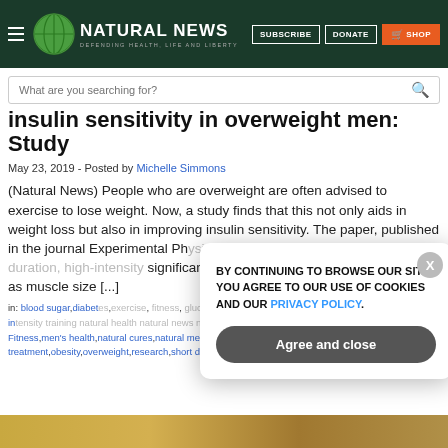NATURAL NEWS — DEFENDING HEALTH, LIFE AND LIBERTY | SUBSCRIBE | DONATE | SHOP
insulin sensitivity in overweight men: Study
May 23, 2019 - Posted by Michelle Simmons
(Natural News) People who are overweight are often advised to exercise to lose weight. Now, a study finds that this not only aids in weight loss but also in improving insulin sensitivity. The paper, published in the journal Experimental Physiology, suggests a six-week short duration, high-intensity interval training significantly improved insulin sensitivity as well as muscle size [...]
in: blood sugar,diabetes,exercise,fitness,glucose,health news,high-intensity interval training,high-intensity training,natural health,natural news,nutrition,plants,Fitness,men's health,natural cures,natural medicine,natural treatment,obesity,overweight,research,short duration,slender,workout
[Figure (screenshot): Cookie consent popup overlay: text 'BY CONTINUING TO BROWSE OUR SITE YOU AGREE TO OUR USE OF COOKIES AND OUR PRIVACY POLICY.' with Agree and close button and X close button]